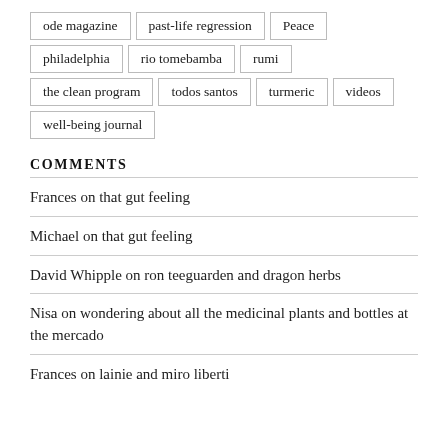ode magazine
past-life regression
Peace
philadelphia
rio tomebamba
rumi
the clean program
todos santos
turmeric
videos
well-being journal
COMMENTS
Frances on that gut feeling
Michael on that gut feeling
David Whipple on ron teeguarden and dragon herbs
Nisa on wondering about all the medicinal plants and bottles at the mercado
Frances on lainie and miro liberti